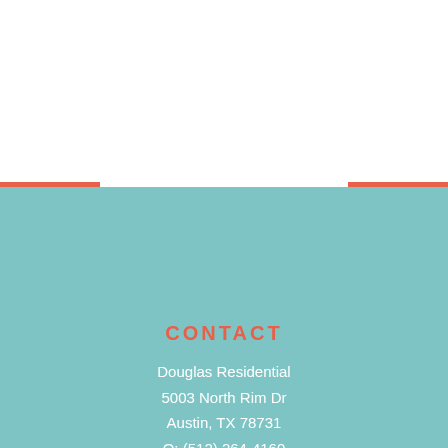CONTACT
Douglas Residential
5003 North Rim Dr
Austin, TX 78731
O: (512) 264-4160